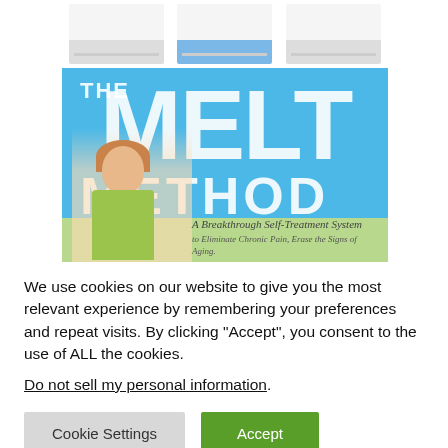[Figure (photo): Book cover of 'The MELT Method: A Breakthrough Self-Treatment System to Eliminate Chronic Pain, Erase the Signs of Aging' showing exercise photos at top and a woman on the cover, with blue and green background.]
We use cookies on our website to give you the most relevant experience by remembering your preferences and repeat visits. By clicking “Accept”, you consent to the use of ALL the cookies.
Do not sell my personal information.
Cookie Settings
Accept